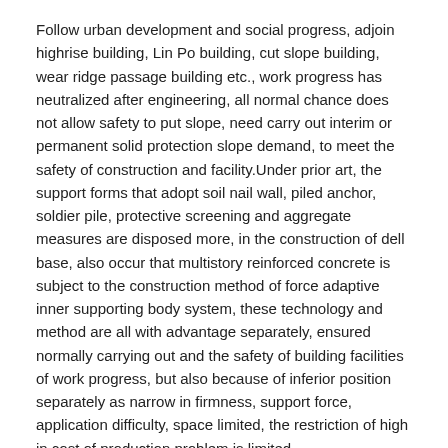Follow urban development and social progress, adjoin highrise building, Lin Po building, cut slope building, wear ridge passage building etc., work progress has neutralized after engineering, all normal chance does not allow safety to put slope, need carry out interim or permanent solid protection slope demand, to meet the safety of construction and facility.Under prior art, the support forms that adopt soil nail wall, piled anchor, soldier pile, protective screening and aggregate measures are disposed more, in the construction of dell base, also occur that multistory reinforced concrete is subject to the construction method of force adaptive inner supporting body system, these technology and method are all with advantage separately, ensured normally carrying out and the safety of building facilities of work progress, but also because of inferior position separately as narrow in firmness, support force, application difficulty, space limited, the restriction of high in cost of production problem is limited.
Three, utility model content
The purpose of this utility model is for above problem and shortage, provides a kind of space narrow, the oblique pull